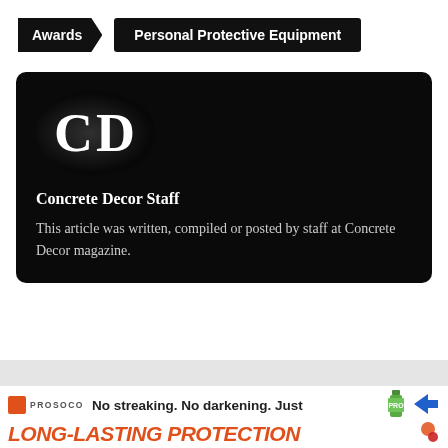Awards | Personal Protective Equipment
[Figure (logo): Black card with CD logo (Concrete Decor Staff author card). Shows large 'CD' letters in white on a dark circular gradient background, followed by author name 'Concrete Decor Staff' and bio text.]
Concrete Decor Staff
This article was written, compiled or posted by staff at Concrete Decor magazine.
[Figure (infographic): PROSOCO advertisement banner: 'No streaking. No darkening. Just LONG-LASTING PROTECTION' with orange/red branding, bottle icon, and logo icons.]